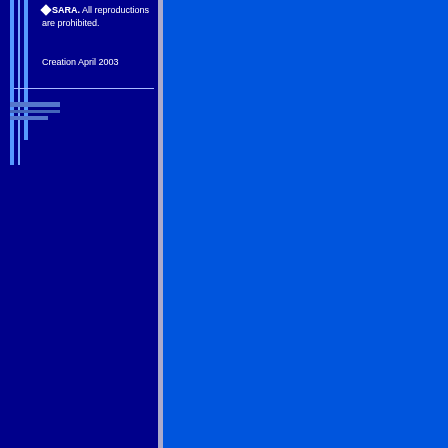◆ SARA. All reproductions are prohibited.
Creation April 2003